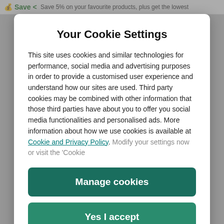Save 5% on your favourite products, plus get the lowest
Your Cookie Settings
This site uses cookies and similar technologies for performance, social media and advertising purposes in order to provide a customised user experience and understand how our sites are used. Third party cookies may be combined with other information that those third parties have about you to offer you social media functionalities and personalised ads. More information about how we use cookies is available at Cookie and Privacy Policy. Modify your settings now or visit the 'Cookie
Manage cookies
Yes I accept